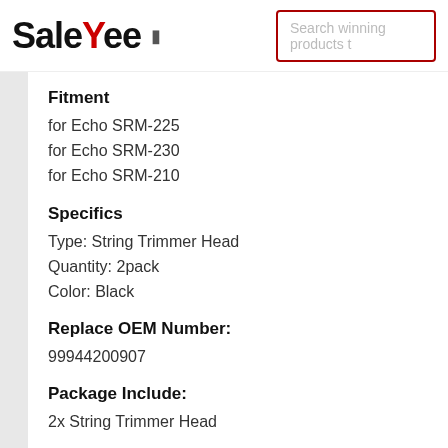[Figure (logo): SaleYee logo with red Y letter and search bar]
Fitment
for Echo SRM-225
for Echo SRM-230
for Echo SRM-210
Specifics
Type: String Trimmer Head
Quantity: 2pack
Color: Black
Replace OEM Number:
99944200907
Package Include:
2x String Trimmer Head